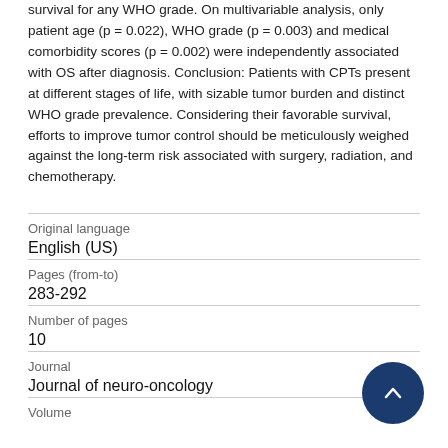survival for any WHO grade. On multivariable analysis, only patient age (p = 0.022), WHO grade (p = 0.003) and medical comorbidity scores (p = 0.002) were independently associated with OS after diagnosis. Conclusion: Patients with CPTs present at different stages of life, with sizable tumor burden and distinct WHO grade prevalence. Considering their favorable survival, efforts to improve tumor control should be meticulously weighed against the long-term risk associated with surgery, radiation, and chemotherapy.
| Field | Value |
| --- | --- |
| Original language | English (US) |
| Pages (from-to) | 283-292 |
| Number of pages | 10 |
| Journal | Journal of neuro-oncology |
| Volume |  |